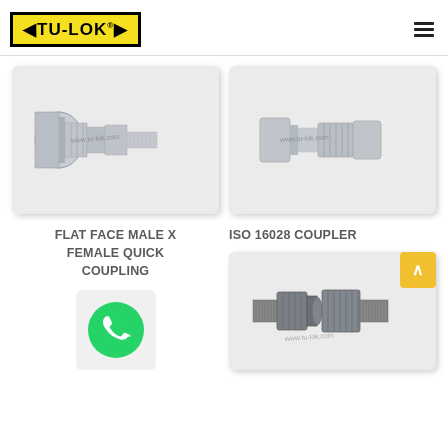[Figure (logo): TU-LOK brand logo, black background with yellow inner panel and bold text TU-LOK with registered trademark symbol]
[Figure (photo): Flat face male x female quick coupling, silver metallic hydraulic fitting, horizontal orientation]
[Figure (photo): ISO 16028 coupler, silver metallic hydraulic quick-release coupling, horizontal orientation]
FLAT FACE MALE X FEMALE QUICK COUPLING
[Figure (photo): WhatsApp icon, green circle with white phone handset]
ISO 16028 COUPLER
[Figure (photo): Hydraulic coupler, dark gray metallic body with threaded male ends on both sides, watermark www.tu-lok.com]